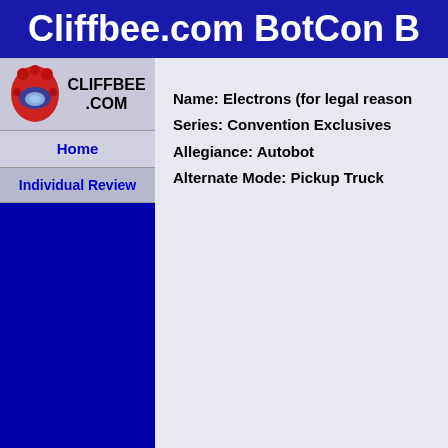Cliffbee.com BotCon B
[Figure (logo): Cliffbee.com logo with red robot character head and text CLIFFBEE .COM]
Home
Individual Review
Name: Electrons (for legal reason
Series: Convention Exclusives
Allegiance: Autobot
Alternate Mode: Pickup Truck